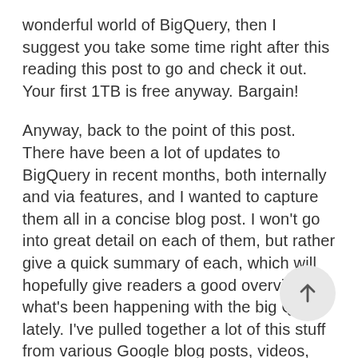wonderful world of BigQuery, then I suggest you take some time right after this reading this post to go and check it out. Your first 1TB is free anyway. Bargain!
Anyway, back to the point of this post. There have been a lot of updates to BigQuery in recent months, both internally and via features, and I wanted to capture them all in a concise blog post. I won't go into great detail on each of them, but rather give a quick summary of each, which will hopefully give readers a good overview of what's been happening with the big Q lately. I've pulled together a lot of this stuff from various Google blog posts, videos, and announcements at GCP